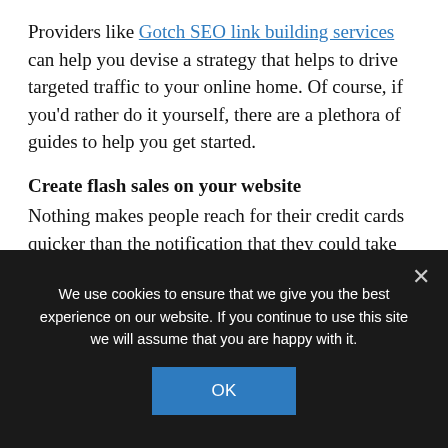Providers like Gotch SEO link building services can help you devise a strategy that helps to drive targeted traffic to your online home. Of course, if you'd rather do it yourself, there are a plethora of guides to help you get started.
Create flash sales on your website
Nothing makes people reach for their credit cards quicker than the notification that they could take advantage of a promotional discount on most or all products for a limited time, such as 24 hours.
We use cookies to ensure that we give you the best experience on our website. If you continue to use this site we will assume that you are happy with it.